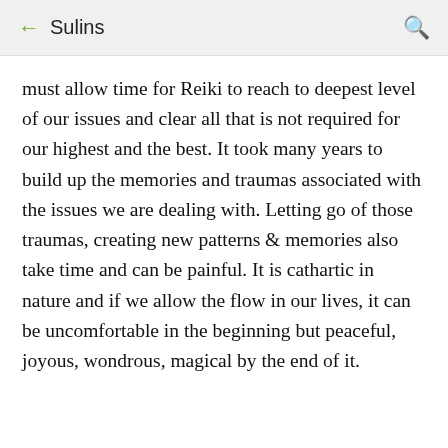← Sulins 🔍
must allow time for Reiki to reach to deepest level of our issues and clear all that is not required for our highest and the best. It took many years to build up the memories and traumas associated with the issues we are dealing with. Letting go of those traumas, creating new patterns & memories also take time and can be painful. It is cathartic in nature and if we allow the flow in our lives, it can be uncomfortable in the beginning but peaceful, joyous, wondrous, magical by the end of it.